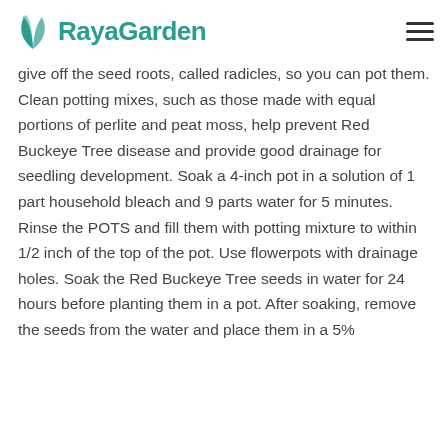RayaGarden
fridge for three to eight weeks. After three weeks, soak to seeds weekly to remove the seeds that give off the seed roots, called radicles, so you can pot them. Clean potting mixes, such as those made with equal portions of perlite and peat moss, help prevent Red Buckeye Tree disease and provide good drainage for seedling development. Soak a 4-inch pot in a solution of 1 part household bleach and 9 parts water for 5 minutes. Rinse the POTS and fill them with potting mixture to within 1/2 inch of the top of the pot. Use flowerpots with drainage holes. Soak the Red Buckeye Tree seeds in water for 24 hours before planting them in a pot. After soaking, remove the seeds from the water and place them in a 5%